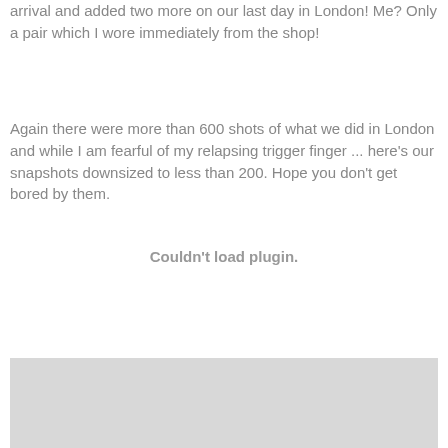arrival and added two more on our last day in London!  Me?  Only a pair which I wore immediately from the shop!
Again there were more than 600 shots of what we did in London and while I am fearful of my relapsing trigger finger ... here's our snapshots downsized to less than 200.  Hope you don't get bored by them.
Couldn't load plugin.
[Figure (photo): A partially visible image placeholder with a light gray background at the bottom of the page.]